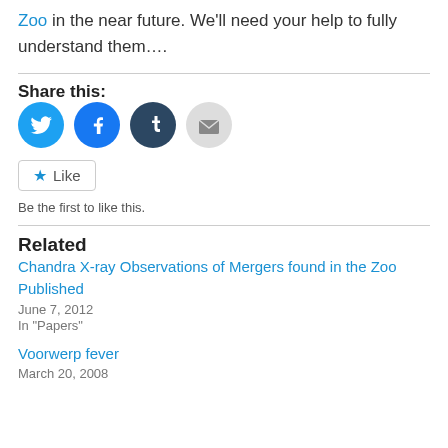Zoo in the near future. We'll need your help to fully understand them….
Share this:
[Figure (infographic): Four social sharing icon buttons: Twitter (blue circle with bird), Facebook (blue circle with f), Tumblr (dark blue circle with t), Email (light gray circle with envelope)]
[Figure (infographic): Like button with star icon and text 'Like']
Be the first to like this.
Related
Chandra X-ray Observations of Mergers found in the Zoo Published
June 7, 2012
In "Papers"
Voorwerp fever
March 20, 2008